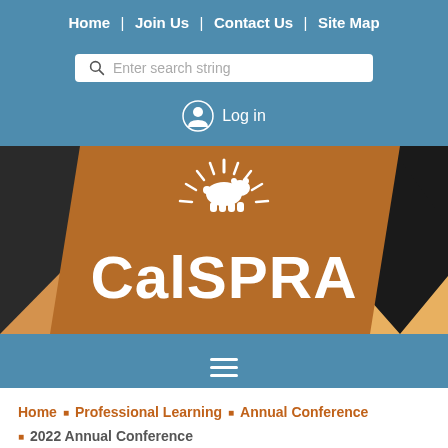Home  |  Join Us  |  Contact Us  |  Site Map
Enter search string
Log in
[Figure (logo): CalSPRA banner logo with bear silhouette and sunburst on brown/orange diagonal background with desert scene]
hamburger menu icon
Home  ▪  Professional Learning  ▪  Annual Conference  ▪  2022 Annual Conference